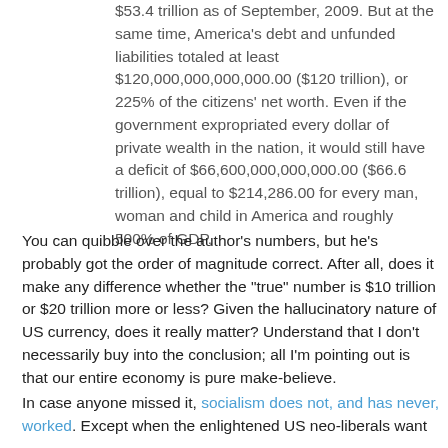$53.4 trillion as of September, 2009. But at the same time, America's debt and unfunded liabilities totaled at least $120,000,000,000,000.00 ($120 trillion), or 225% of the citizens' net worth. Even if the government expropriated every dollar of private wealth in the nation, it would still have a deficit of $66,600,000,000,000.00 ($66.6 trillion), equal to $214,286.00 for every man, woman and child in America and roughly 500% of GDP.
You can quibble over the author's numbers, but he's probably got the order of magnitude correct. After all, does it make any difference whether the "true" number is $10 trillion or $20 trillion more or less? Given the hallucinatory nature of US currency, does it really matter? Understand that I don't necessarily buy into the conclusion; all I'm pointing out is that our entire economy is pure make-believe.
In case anyone missed it, socialism does not, and has never, worked. Except when the enlightened US neo-liberals want